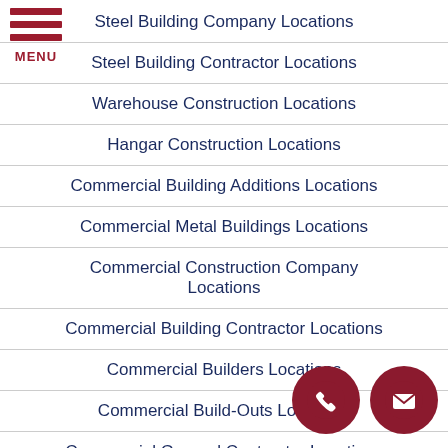[Figure (other): Hamburger menu icon with three red horizontal bars and MENU label]
Steel Building Company Locations
Steel Building Contractor Locations
Warehouse Construction Locations
Hangar Construction Locations
Commercial Building Additions Locations
Commercial Metal Buildings Locations
Commercial Construction Company Locations
Commercial Building Contractor Locations
Commercial Builders Locations
Commercial Build-Outs Locations
Commercial General Contractor Locations
Construction Project Management Locations
Building Construction Company Locations
[Figure (other): Phone call button (red circle with phone icon)]
[Figure (other): Email/mail button (red circle with envelope icon)]